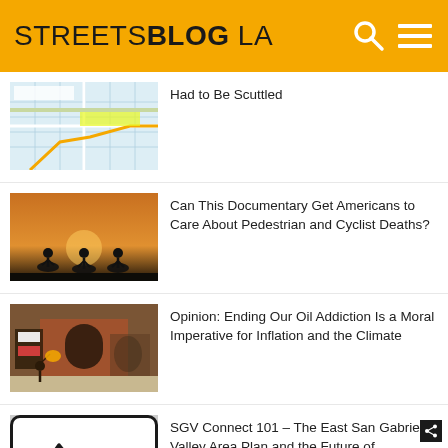STREETSBLOG LA
[Figure (screenshot): Thumbnail: street map image]
Had to Be Scuttled
[Figure (photo): Silhouettes of cyclists against a sunset sky]
Can This Documentary Get Americans to Care About Pedestrian and Cyclist Deaths?
[Figure (photo): Person with bicycle in front of a building with protest signs and murals]
Opinion: Ending Our Oil Addiction Is a Moral Imperative for Inflation and the Climate
[Figure (logo): SGV Connect logo with mountain outline and SGV text]
SGV Connect 101 – The East San Gabriel Valley Area Plan and the Future of Journalism